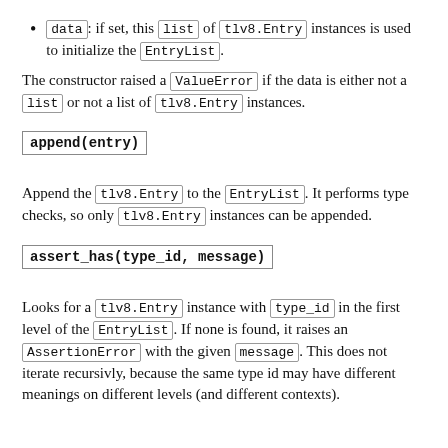data: if set, this list of tlv8.Entry instances is used to initialize the EntryList.
The constructor raised a ValueError if the data is either not a list or not a list of tlv8.Entry instances.
append(entry)
Append the tlv8.Entry to the EntryList. It performs type checks, so only tlv8.Entry instances can be appended.
assert_has(type_id, message)
Looks for a tlv8.Entry instance with type_id in the first level of the EntryList. If none is found, it raises an AssertionError with the given message. This does not iterate recursivly, because the same type id may have different meanings on different levels (and different contexts).